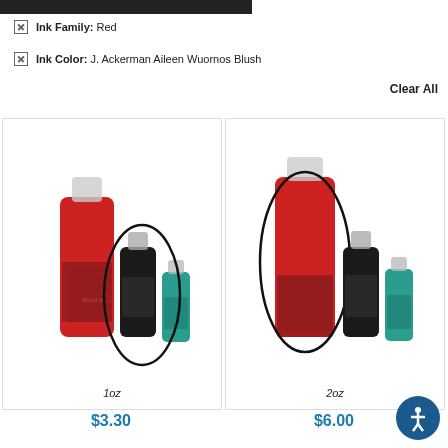Ink Family: Red
Ink Color: J. Ackerman Aileen Wuornos Blush
Clear All
[Figure (photo): Tattoo ink bottles of varying sizes with one circled (1oz size highlighted). Red, black, and teal bottles shown.]
$3.30
[Figure (photo): Tattoo ink bottles of varying sizes with one circled (2oz size highlighted). Red, black, and teal bottles shown.]
$6.00